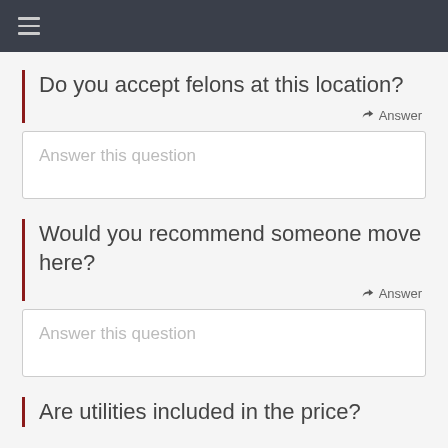Do you accept felons at this location?
Answer this question
Would you recommend someone move here?
Answer this question
Are utilities included in the price?